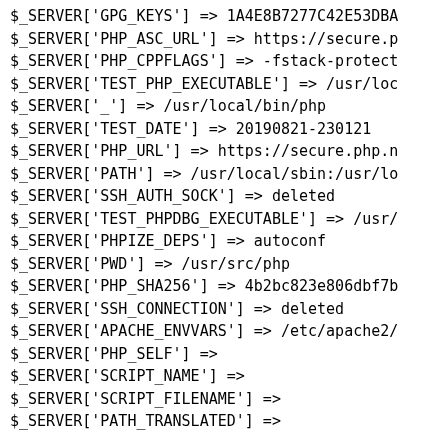$_SERVER['GPG_KEYS'] => 1A4E8B7277C42E53DBA
$_SERVER['PHP_ASC_URL'] => https://secure.p
$_SERVER['PHP_CPPFLAGS'] => -fstack-protect
$_SERVER['TEST_PHP_EXECUTABLE'] => /usr/loc
$_SERVER['_'] => /usr/local/bin/php
$_SERVER['TEST_DATE'] => 20190821-230121
$_SERVER['PHP_URL'] => https://secure.php.n
$_SERVER['PATH'] => /usr/local/sbin:/usr/lo
$_SERVER['SSH_AUTH_SOCK'] => deleted
$_SERVER['TEST_PHPDBG_EXECUTABLE'] => /usr/
$_SERVER['PHPIZE_DEPS'] => autoconf
$_SERVER['PWD'] => /usr/src/php
$_SERVER['PHP_SHA256'] => 4b2bc823e806dbf7b
$_SERVER['SSH_CONNECTION'] => deleted
$_SERVER['APACHE_ENVVARS'] => /etc/apache2/
$_SERVER['PHP_SELF'] =>
$_SERVER['SCRIPT_NAME'] =>
$_SERVER['SCRIPT_FILENAME'] =>
$_SERVER['PATH_TRANSLATED'] =>